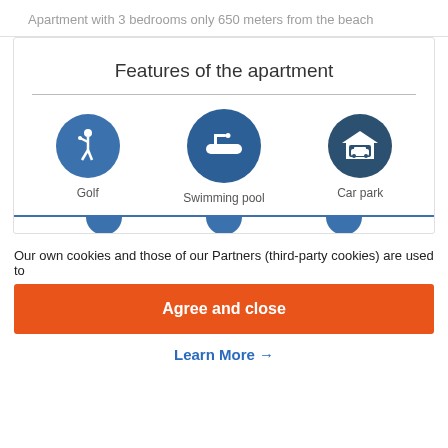Apartment with 3 bedrooms only 650 meters from the beach
Features of the apartment
[Figure (infographic): Three circular icons in a row: Golf (golfer silhouette), Swimming pool (pool ladder icon), Car park (car in garage icon), each with a label below. Below that, three partial circles are partially visible.]
Our own cookies and those of our Partners (third-party cookies) are used to
Agree and close
Learn More →